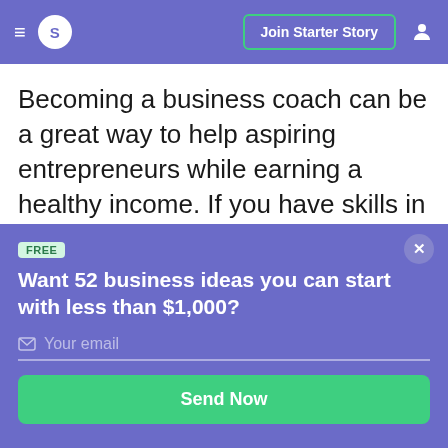≡ S  Join Starter Story  👤
Becoming a business coach can be a great way to help aspiring entrepreneurs while earning a healthy income. If you have skills in specialized business fields such as marketing, e-commerce, stress
FREE
Want 52 business ideas you can start with less than $1,000?
Your email
Send Now